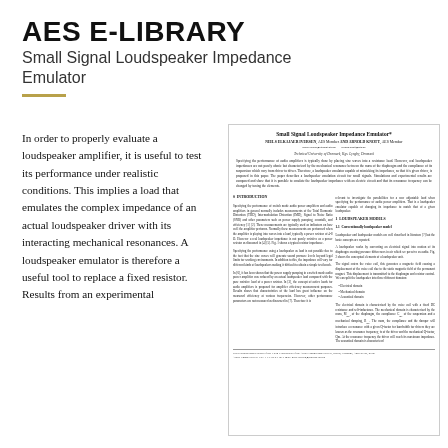AES E-LIBRARY
Small Signal Loudspeaker Impedance Emulator
In order to properly evaluate a loudspeaker amplifier, it is useful to test its performance under realistic conditions. This implies a load that emulates the complex impedance of an actual loudspeaker driver with its interacting mechanical resonances. A loudspeaker emulator is therefore a useful tool to replace a fixed resistor. Results from an experimental
[Figure (screenshot): Scanned first page of the paper titled 'Small Signal Loudspeaker Impedance Emulator' by Niels Elkajaer Iversen and Arnold Knott, showing abstract, introduction, and loudspeaker models sections in two-column academic journal format.]